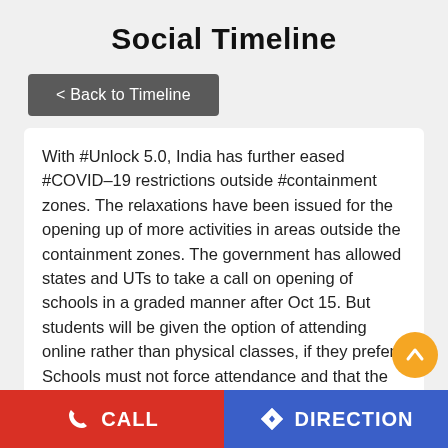Social Timeline
< Back to Timeline
With #Unlock 5.0, India has further eased #COVID-19 restrictions outside #containment zones. The relaxations have been issued for the opening up of more activities in areas outside the containment zones. The government has allowed states and UTs to take a call on opening of schools in a graded manner after Oct 15. But students will be given the option of attending online rather than physical classes, if they prefer. Schools must not force attendance and that the final decision must entirely depend on parental consent. Theatres and multiplexes can resume functioning with a 50% seating capacity after Oct 15. Swimming pools can be used from the same date but only for training of sportspersons. Social, academic, sports,
CALL   DIRECTION